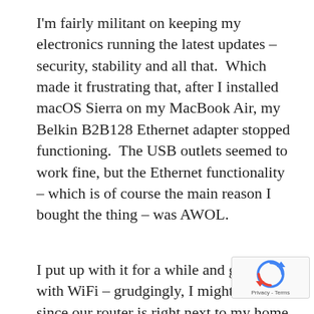I'm fairly militant on keeping my electronics running the latest updates – security, stability and all that.  Which made it frustrating that, after I installed macOS Sierra on my MacBook Air, my Belkin B2B128 Ethernet adapter stopped functioning.  The USB outlets seemed to work fine, but the Ethernet functionality – which is of course the main reason I bought the thing – was AWOL.
I put up with it for a while and got by with WiFi – grudgingly, I might add, since our router is right next to my home office desk – but now that I'm on a consulting assignment with a different client whose WiFi is less than reliable, matters came to a head.  I nee... Ethernet... ASAP. So I...